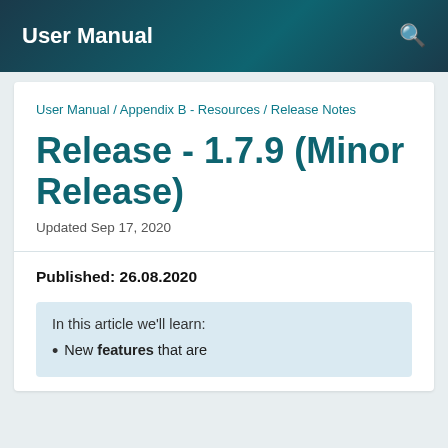User Manual
User Manual / Appendix B - Resources / Release Notes
Release - 1.7.9 (Minor Release)
Updated Sep 17, 2020
Published: 26.08.2020
In this article we'll learn:
New features that are